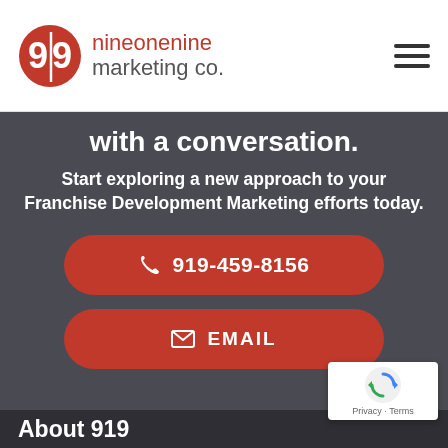nineonenine marketing co.
with a conversation.
Start exploring a new approach to your Franchise Development Marketing efforts today.
919-459-8156
EMAIL
About 919